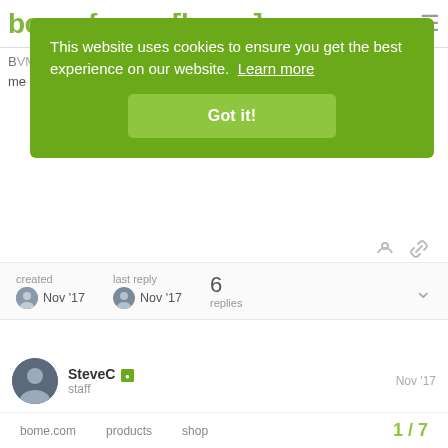bome.forum [logo/nav bar]
[Figure (screenshot): Cookie consent overlay banner with green background. Text: 'This website uses cookies to ensure you get the best experience on our website. Learn more' and a 'Got it!' button.]
created Nov '17  last reply Nov '17  6 replies
SteveC staff  Nov '17

Hi Gabriel,

Could you post your project file and show one or two translators you need adjusting? Or should
bome.com  products  shop  1/7